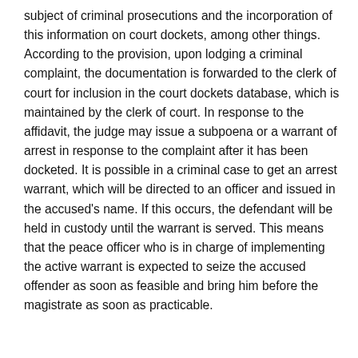subject of criminal prosecutions and the incorporation of this information on court dockets, among other things. According to the provision, upon lodging a criminal complaint, the documentation is forwarded to the clerk of court for inclusion in the court dockets database, which is maintained by the clerk of court. In response to the affidavit, the judge may issue a subpoena or a warrant of arrest in response to the complaint after it has been docketed. It is possible in a criminal case to get an arrest warrant, which will be directed to an officer and issued in the accused's name. If this occurs, the defendant will be held in custody until the warrant is served. This means that the peace officer who is in charge of implementing the active warrant is expected to seize the accused offender as soon as feasible and bring him before the magistrate as soon as practicable.